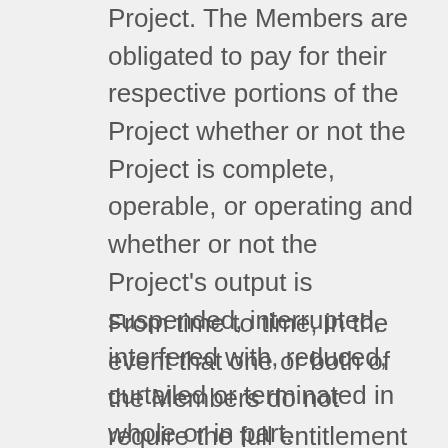Project. The Members are obligated to pay for their respective portions of the Project whether or not the Project is complete, operable, or operating and whether or not the Project's output is suspended, interrupted, interfered with, reduced, curtailed or terminated in whole or in part.
From time to time, in the event that one or both of the Members do not require the full entitlement of their respective shares of the Project's output, KMPA will make an effort to sell such unused power and energy in the energy marketplace